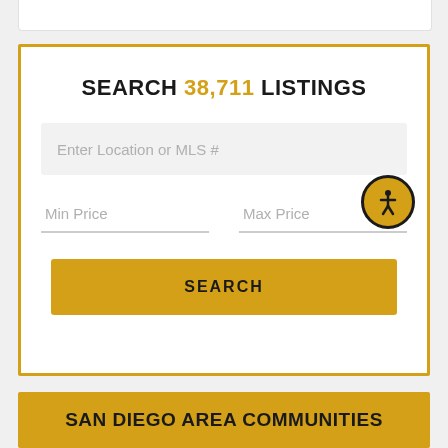[Figure (screenshot): Partial white card at top of page]
SEARCH 38,711 LISTINGS
[Figure (screenshot): Search form with Enter Location or MLS # field, Min Price and Max Price fields, accessibility icon, and SEARCH button]
SAN DIEGO AREA COMMUNITIES